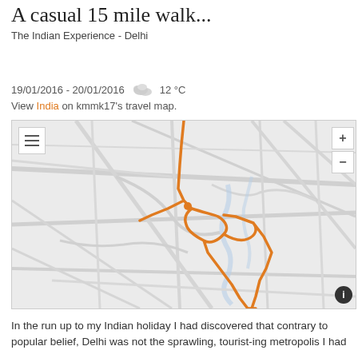A casual 15 mile walk...
The Indian Experience - Delhi
19/01/2016 - 20/01/2016  ☁  12 °C
View India on kmmk17's travel map.
[Figure (map): Interactive map showing an orange walking route through Delhi, India. The route starts from the top center, loops through the city center area with a circular section, then extends diagonally to the bottom right. Map shows city streets in light grey on a pale background.]
In the run up to my Indian holiday I had discovered that contrary to popular belief, Delhi was not the sprawling, tourist-ing metropolis I had imagined it to be.